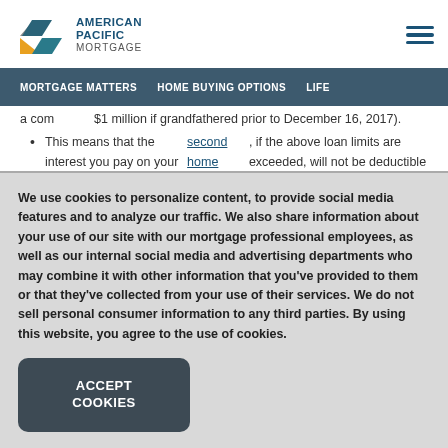[Figure (logo): American Pacific Mortgage logo with colorful geometric shapes and text]
MORTGAGE MATTERS   HOME BUYING OPTIONS   LIFE
...a com...$1 million if grandfathered prior to December 16, 2017).
This means that the interest you pay on your loan for a second home mortgage, if the above loan limits are exceeded, will not be deductible in 2018.
We use cookies to personalize content, to provide social media features and to analyze our traffic. We also share information about your use of our site with our mortgage professional employees, as well as our internal social media and advertising departments who may combine it with other information that you've provided to them or that they've collected from your use of their services. We do not sell personal consumer information to any third parties. By using this website, you agree to the use of cookies.
ACCEPT COOKIES